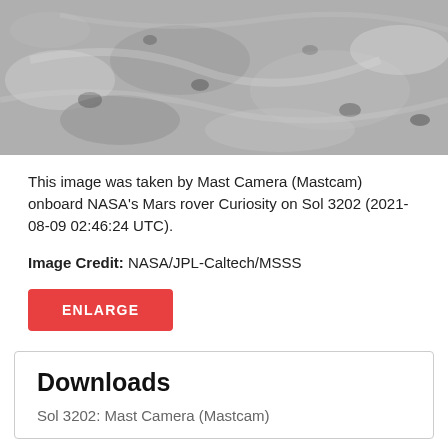[Figure (photo): Grayscale image of Mars surface taken by Mast Camera (Mastcam) onboard NASA's Curiosity rover on Sol 3202. Rocky, textured Martian terrain.]
This image was taken by Mast Camera (Mastcam) onboard NASA's Mars rover Curiosity on Sol 3202 (2021-08-09 02:46:24 UTC).
Image Credit: NASA/JPL-Caltech/MSSS
ENLARGE
Downloads
Sol 3202: Mast Camera (Mastcam)